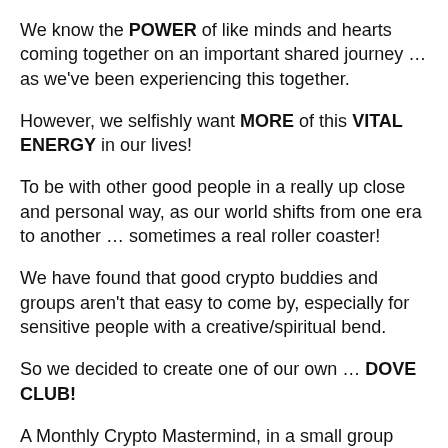We know the POWER of like minds and hearts coming together on an important shared journey … as we've been experiencing this together.
However, we selfishly want MORE of this VITAL ENERGY in our lives!
To be with other good people in a really up close and personal way, as our world shifts from one era to another … sometimes a real roller coaster!
We have found that good crypto buddies and groups aren't that easy to come by, especially for sensitive people with a creative/spiritual bend.
So we decided to create one of our own … DOVE CLUB!
A Monthly Crypto Mastermind, in a small group setting, to